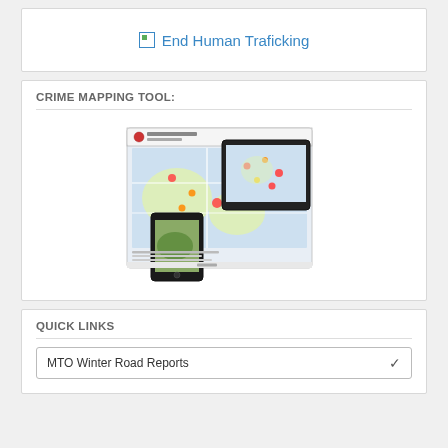[Figure (screenshot): End Human Trafficking banner with broken image icon and link text]
CRIME MAPPING TOOL:
[Figure (screenshot): Crime mapping tool screenshot showing a map with crime heat spots displayed on desktop and mobile devices - Midland Police Service interface]
QUICK LINKS
MTO Winter Road Reports